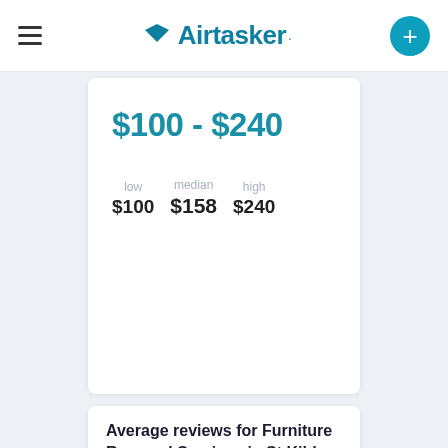Airtasker
$100 - $240
low $100   median $158   high $240
Average reviews for Furniture Removal Services in St Kilda